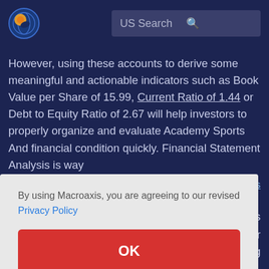[Figure (logo): Macroaxis globe logo — circular blue globe with orange highlight]
US Search
However, using these accounts to derive some meaningful and actionable indicators such as Book Value per Share of 15.99, Current Ratio of 1.44 or Debt to Equity Ratio of 2.67 will help investors to properly organize and evaluate Academy Sports And financial condition quickly. Financial Statement Analysis is way
By using Macroaxis, you are agreeing to our revised Privacy Policy
OK
Please continue to Trending Equities.